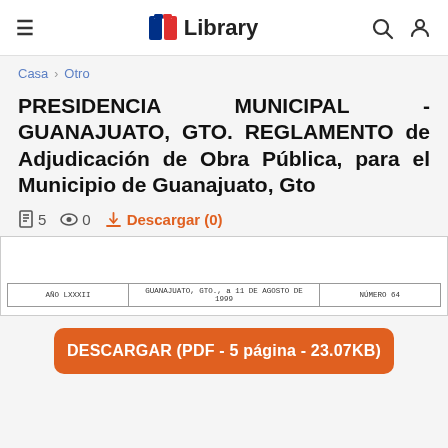Library — navigation bar with hamburger menu, Library logo, search and user icons
Casa > Otro
PRESIDENCIA MUNICIPAL - GUANAJUATO, GTO. REGLAMENTO de Adjudicación de Obra Pública, para el Municipio de Guanajuato, Gto
5  0  Descargar (0)
[Figure (screenshot): Preview thumbnail of the document showing a table header row with: AÑO LXXXII | GUANAJUATO, GTO., a 11 DE AGOSTO DE 1999 | NÚMERO 64]
DESCARGAR (PDF - 5 página - 23.07KB)